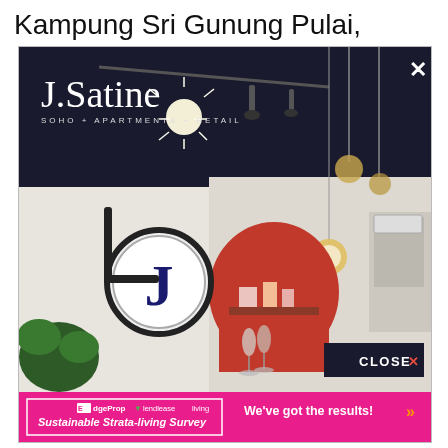Kampung Sri Gunung Pulai,
[Figure (screenshot): Advertisement for J.Satine (SOHO + APARTMENTS + RETAIL) showing an interior photo of a modern apartment/showroom with dark ceiling, track lighting, pendant lights, a circular J logo sign, and a red mosaic arch feature wall. The ad has a close X button in the top right and a CLOSE X button at the bottom right of the image area. At the bottom is a pink/magenta banner with EdgeProp and Lendlease Living logos, 'Sustainable Strata-living Survey' in a white-bordered box, and 'We've got the results!' text with orange chevrons.]